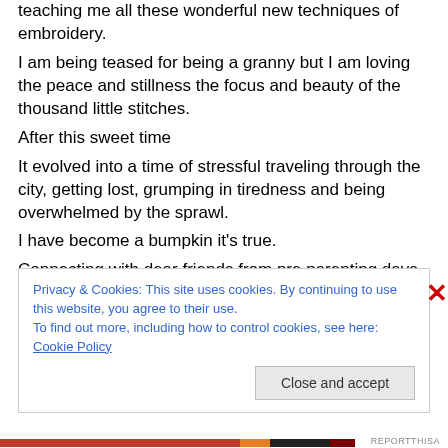teaching me all these wonderful new techniques of embroidery.
I am being teased for being a granny but I am loving the peace and stillness the focus and beauty of the thousand little stitches.
After this sweet time
It evolved into a time of stressful traveling through the city, getting lost, grumping in tiredness and being overwhelmed by the sprawl.
I have become a bumpkin it's true.
Connecting with dear friends from pre parenting days
Privacy & Cookies: This site uses cookies. By continuing to use this website, you agree to their use.
To find out more, including how to control cookies, see here: Cookie Policy
REPORTTHISA